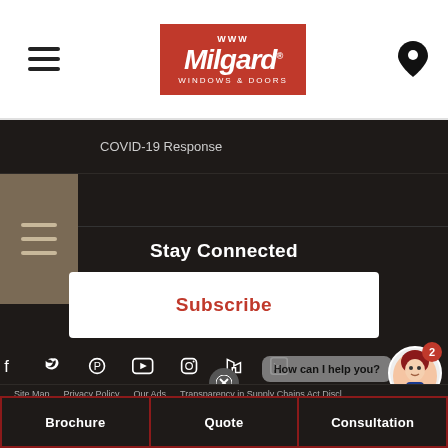[Figure (logo): Milgard Windows & Doors logo in red box with white text]
COVID-19 Response
Stay Connected
Subscribe
Site Map  Privacy Policy  Our Ads  Transparency in Supply Chains Act Discl...
Brochure
Quote
Consultation